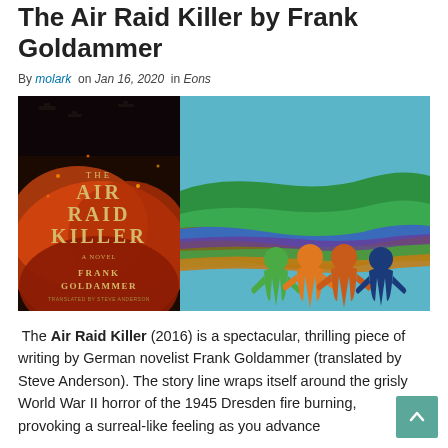The Air Raid Killer by Frank Goldammer
By molark on Jan 16, 2020 in Eons
[Figure (illustration): Book cover of 'The Air Raid Killer' by Frank Goldammer (dark red/orange background with bombers) alongside a colorful illustration of a landscape with three cartoon figures (green, orange, dark blue) holding hands on a teal background.]
The Air Raid Killer (2016) is a spectacular, thrilling piece of writing by German novelist Frank Goldammer (translated by Steve Anderson). The story line wraps itself around the grisly World War II horror of the 1945 Dresden fire burning, provoking a surreal-like feeling as you advance